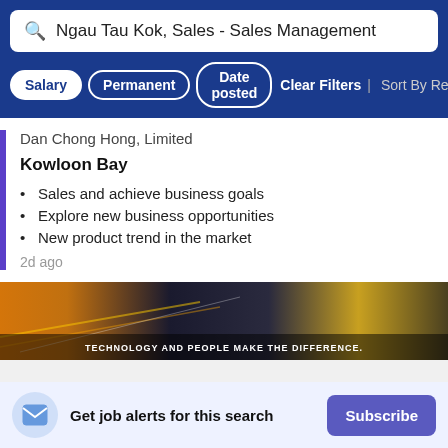Ngau Tau Kok, Sales - Sales Management
Salary | Permanent | Date posted | Clear Filters | Sort By Rel
Dan Chong Hong, Limited
Kowloon Bay
Sales and achieve business goals
Explore new business opportunities
New product trend in the market
2d ago
[Figure (photo): City street with light trails and text overlay: TECHNOLOGY AND PEOPLE MAKE THE DIFFERENCE.]
Get job alerts for this search
Subscribe